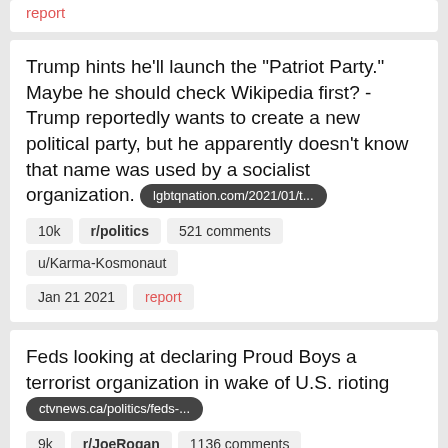report
Trump hints he’ll launch the “Patriot Party.” Maybe he should check Wikipedia first? - Trump reportedly wants to create a new political party, but he apparently doesn't know that name was used by a socialist organization. lgbtqnation.com/2021/01/t...
10k   r/politics   521 comments   u/Karma-Kosmonaut
Jan 21 2021   report
Feds looking at declaring Proud Boys a terrorist organization in wake of U.S. rioting ctvnews.ca/politics/feds-...
9k   r/JoeRogan   1136 comments   u/fatorangefuck
Jan 10 2021   report